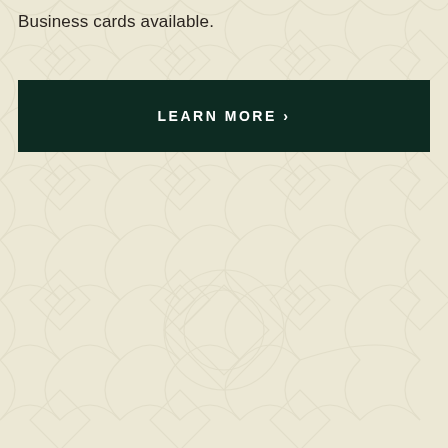Business cards available.
LEARN MORE ›